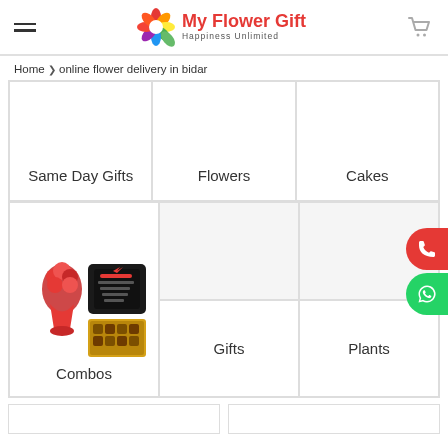My Flower Gift — Happiness Unlimited
Home > online flower delivery in bidar
| Same Day Gifts | Flowers | Cakes |
| --- | --- | --- |
| Combos (with image) | Gifts | Plants |
[Figure (photo): Combo product image: red flower bouquet, black printed pillow, and Ferrero Rocher chocolates box]
Same Day Gifts
Flowers
Cakes
Combos
Gifts
Plants